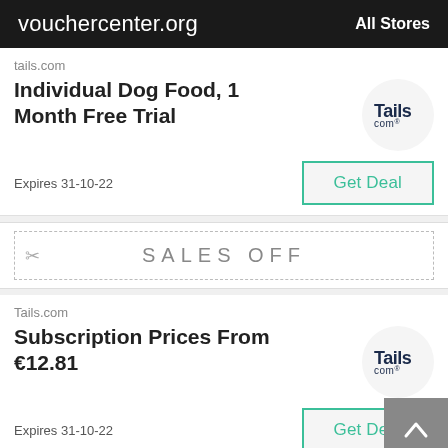vouchercenter.org   All Stores
tails.com
Individual Dog Food, 1 Month Free Trial
Expires 31-10-22
Get Deal
[Figure (logo): Tails.com circular logo]
SALES OFF
Tails.com
Subscription Prices From €12.81
Expires 31-10-22
Get Deal
[Figure (logo): Tails.com circular logo]
SALES OFF